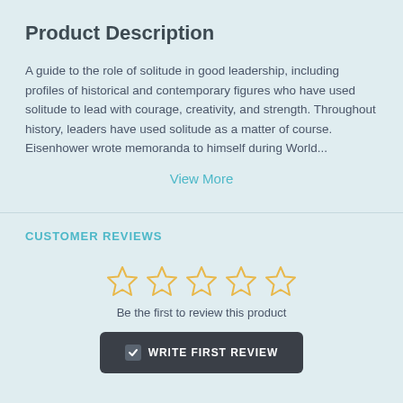Product Description
A guide to the role of solitude in good leadership, including profiles of historical and contemporary figures who have used solitude to lead with courage, creativity, and strength. Throughout history, leaders have used solitude as a matter of course. Eisenhower wrote memoranda to himself during World...
View More
CUSTOMER REVIEWS
[Figure (other): Five empty star rating icons in yellow/gold outline]
Be the first to review this product
WRITE FIRST REVIEW